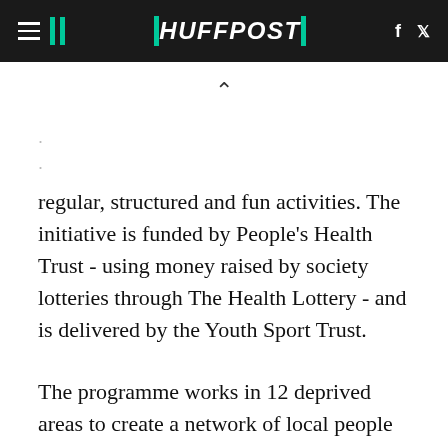HUFFPOST
regular, structured and fun activities. The initiative is funded by People's Health Trust - using money raised by society lotteries through The Health Lottery - and is delivered by the Youth Sport Trust.
The programme works in 12 deprived areas to create a network of local people who lead and inspire volunteering activity for the benefit of others in their community. Over the last year more than 400 young people have been involved in activities across the UK, delivering